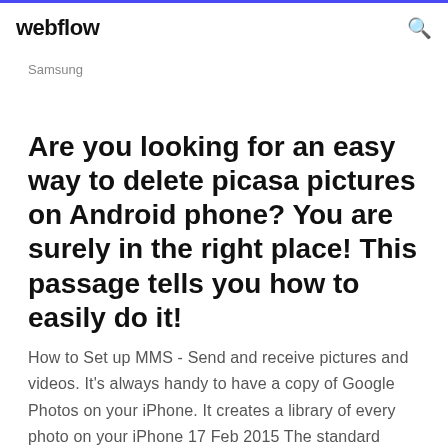webflow
Samsung
Are you looking for an easy way to delete picasa pictures on Android phone? You are surely in the right place! This passage tells you how to easily do it!
How to Set up MMS - Send and receive pictures and videos. It's always handy to have a copy of Google Photos on your iPhone. It creates a library of every photo on your iPhone 17 Feb 2015 The standard Android and iOS